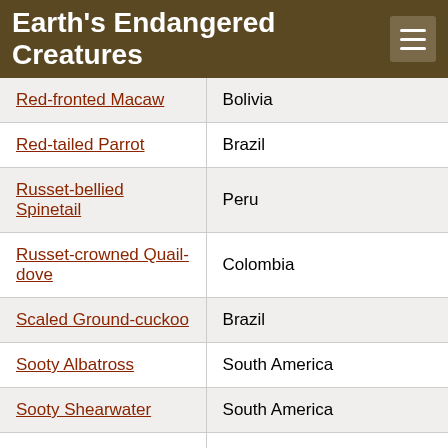Earth's Endangered Creatures
| Species | Location |
| --- | --- |
| Red-fronted Macaw | Bolivia |
| Red-tailed Parrot | Brazil |
| Russet-bellied Spinetail | Peru |
| Russet-crowned Quail-dove | Colombia |
| Scaled Ground-cuckoo | Brazil |
| Sooty Albatross | South America |
| Sooty Shearwater | South America |
| Sooty-capped Puffbird | Colombia |
| Southern Giant-petrel | South America |
| Southern Rockhopper Penguin | Argentina, Chile, Falkland Islands (Malvinas), Uruguay |
| Southern Royal Albatross | South America |